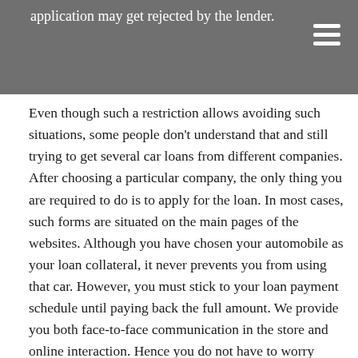application may get rejected by the lender.
Even though such a restriction allows avoiding such situations, some people don't understand that and still trying to get several car loans from different companies. After choosing a particular company, the only thing you are required to do is to apply for the loan. In most cases, such forms are situated on the main pages of the websites. Although you have chosen your automobile as your loan collateral, it never prevents you from using that car. However, you must stick to your loan payment schedule until paying back the full amount. We provide you both face-to-face communication in the store and online interaction. Hence you do not have to worry about the mode of interaction. Moreover, you do not have to spend hours on your computer searching for the lender's legitimacy. We will also take care of it and help you to solve your issues fast and painlessly. The